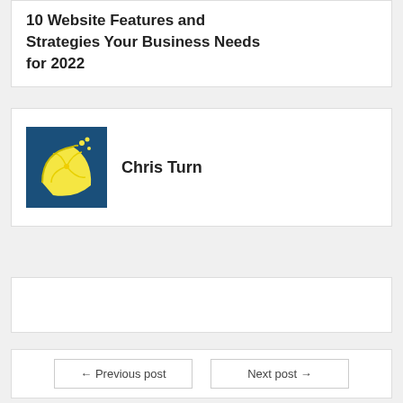10 Website Features and Strategies Your Business Needs for 2022
[Figure (illustration): Author avatar: blue square background with a yellow lemon slice graphic and small drops/splash]
Chris Turn
← Previous post   Next post →